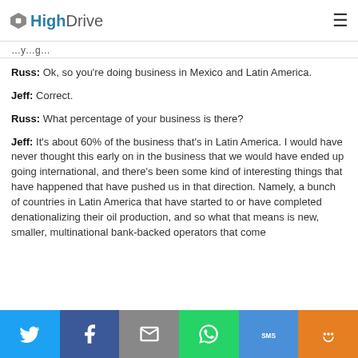HighDrive
...y...g...
Russ: Ok, so you're doing business in Mexico and Latin America.
Jeff: Correct.
Russ: What percentage of your business is there?
Jeff: It's about 60% of the business that's in Latin America. I would have never thought this early on in the business that we would have ended up going international, and there's been some kind of interesting things that have happened that have pushed us in that direction. Namely, a bunch of countries in Latin America that have started to or have completed denationalizing their oil production, and so what that means is new, smaller, multinational bank-backed operators that come...